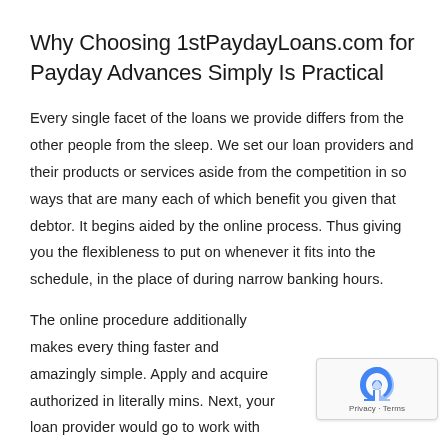Why Choosing 1stPaydayLoans.com for Payday Advances Simply Is Practical
Every single facet of the loans we provide differs from the other people from the sleep. We set our loan providers and their products or services aside from the competition in so ways that are many each of which benefit you given that debtor. It begins aided by the online process. Thus giving you the flexibleness to put on whenever it fits into the schedule, in the place of during narrow banking hours.
The online procedure additionally makes every thing faster and amazingly simple. Apply and acquire authorized in literally mins. Next, your loan provider would go to work with moments